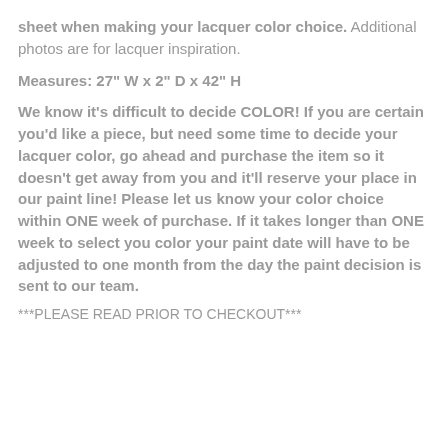sheet when making your lacquer color choice. Additional photos are for lacquer inspiration.
Measures: 27" W x 2" D x 42" H
We know it's difficult to decide COLOR! If you are certain you'd like a piece, but need some time to decide your lacquer color, go ahead and purchase the item so it doesn't get away from you and it'll reserve your place in our paint line! Please let us know your color choice within ONE week of purchase. If it takes longer than ONE week to select you color your paint date will have to be adjusted to one month from the day the paint decision is sent to our team.
***PLEASE READ PRIOR TO CHECKOUT***